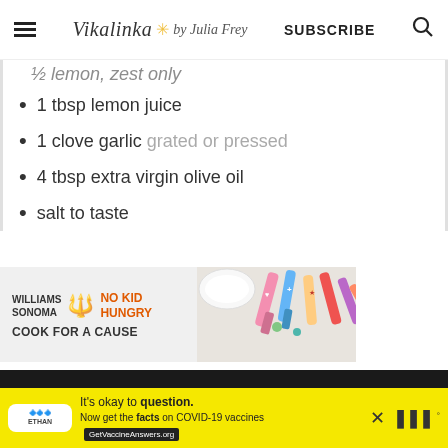Vikalinka by Julia Frey | SUBSCRIBE
½ lemon, zest only (partial, cut off)
1 tbsp lemon juice
1 clove garlic grated or pressed
4 tbsp extra virgin olive oil
salt to taste
[Figure (infographic): Williams Sonoma x No Kid Hungry - Cook For A Cause advertisement banner with colorful cooking spatulas]
[Figure (infographic): It's okay to question. Now get the facts on COVID-19 vaccines. GetVaccineAnswers.org advertisement on yellow background]